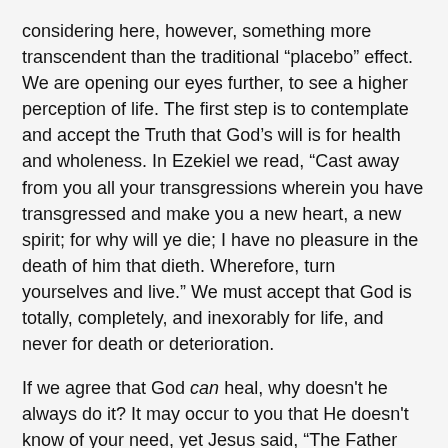considering here, however, something more transcendent than the traditional “placebo” effect. We are opening our eyes further, to see a higher perception of life. The first step is to contemplate and accept the Truth that God’s will is for health and wholeness. In Ezekiel we read, “Cast away from you all your transgressions wherein you have transgressed and make you a new heart, a new spirit; for why will ye die; I have no pleasure in the death of him that dieth. Wherefore, turn yourselves and live.” We must accept that God is totally, completely, and inexorably for life, and never for death or deterioration.
If we agree that God can heal, why doesn't he always do it? It may occur to you that He doesn't know of your need, yet Jesus said, “The Father knows of your needs before ye ask Him.” Another thought may be that sickness is a form of punishment, or perhaps a sign of His will, yet we are told, “I have loved you with an everlasting love,” and that it is “God’s good pleasure to give you the Kingdom.” So, God doesn’t make you sick nor does He make you well. You are sick because in some conscious or subconscious way you have strayed from your